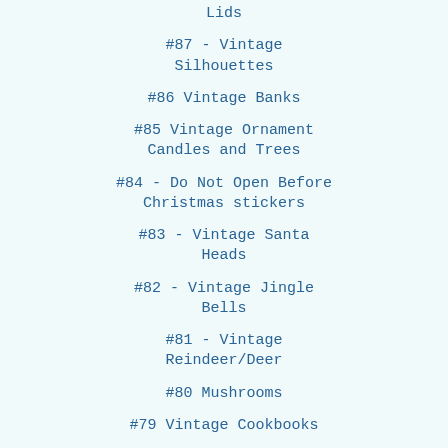Lids
#87 - Vintage Silhouettes
#86 Vintage Banks
#85 Vintage Ornament Candles and Trees
#84 - Do Not Open Before Christmas stickers
#83 - Vintage Santa Heads
#82 - Vintage Jingle Bells
#81 - Vintage Reindeer/Deer
#80 Mushrooms
#79 Vintage Cookbooks
#78 Vintage Dollhouses and Furniture